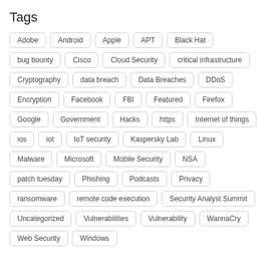Tags
Adobe
Android
Apple
APT
Black Hat
bug bounty
Cisco
Cloud Security
critical infrastructure
Cryptography
data breach
Data Breaches
DDoS
Encryption
Facebook
FBI
Featured
Firefox
Google
Government
Hacks
https
Internet of things
ios
iot
IoT security
Kaspersky Lab
Linux
Malware
Microsoft
Mobile Security
NSA
patch tuesday
Phishing
Podcasts
Privacy
ransomware
remote code execution
Security Analyst Summit
Uncategorized
Vulnerabilities
Vulnerability
WannaCry
Web Security
Windows